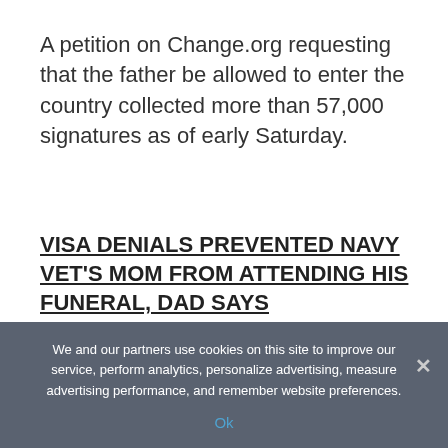A petition on Change.org requesting that the father be allowed to enter the country collected more than 57,000 signatures as of early Saturday.
VISA DENIALS PREVENTED NAVY VET'S MOM FROM ATTENDING HIS FUNERAL, DAD SAYS
"No parent should be denied the right to attend their child's funeral — especially when Hanie
We and our partners use cookies on this site to improve our service, perform analytics, personalize advertising, measure advertising performance, and remember website preferences.